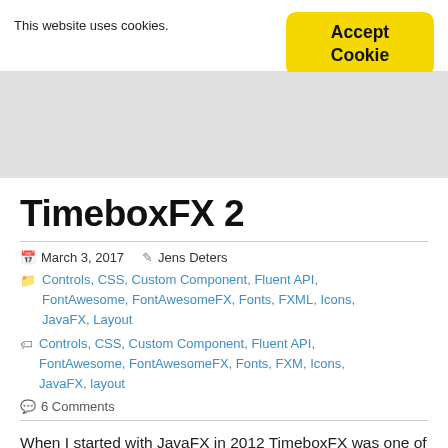This website uses cookies.
Accept Cookie
TimeboxFX 2
March 3, 2017   Jens Deters
Controls, CSS, Custom Component, Fluent API, FontAwesome, FontAwesomeFX, Fonts, FXML, Icons, JavaFX, Layout
Controls, CSS, Custom Component, Fluent API, FontAwesome, FontAwesomeFX, Fonts, FXM, Icons, JavaFX, layout
6 Comments
When I started with JavaFX in 2012 TimeboxFX was one of my very first JavaFX apps. Recently in a meeting I wanted to